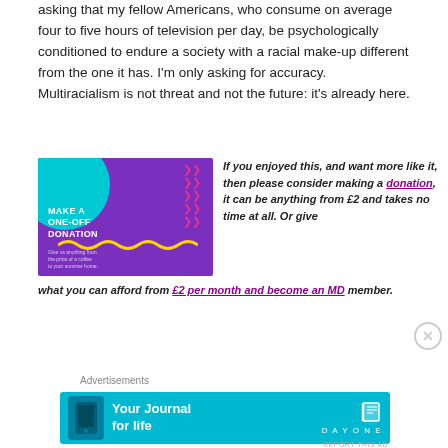asking that my fellow Americans, who consume on average four to five hours of television per day, be psychologically conditioned to endure a society with a racial make-up different from the one it has. I'm only asking for accuracy. Multiracialism is not threat and not the future: it's already here.
[Figure (illustration): Purple donation banner with cyan circle, pink chevrons, yellow wave squiggle, and white text reading MAKE A ONE-OFF DONATION. Give us anything from the price of a coffee to your summer home.]
If you enjoyed this, and want more like it, then please consider making a donation, it can be anything from £2 and takes no time at all. Or give what you can afford from £2 per month and become an MD member.
Advertisements
[Figure (screenshot): Cyan advertisement banner for Day One app: Your Journal for life]